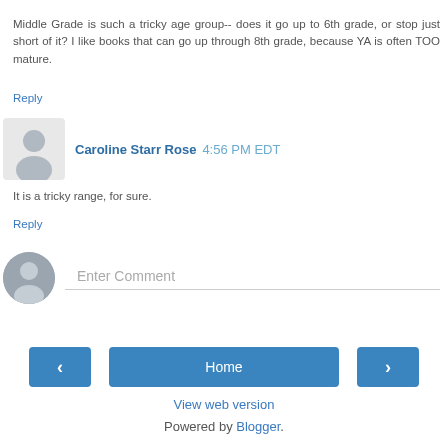Middle Grade is such a tricky age group-- does it go up to 6th grade, or stop just short of it? I like books that can go up through 8th grade, because YA is often TOO mature.
Reply
Caroline Starr Rose  4:56 PM EDT
It is a tricky range, for sure.
Reply
[Figure (illustration): Comment input area with gray user avatar circle and 'Enter Comment' placeholder text]
Home | < | > | View web version | Powered by Blogger.